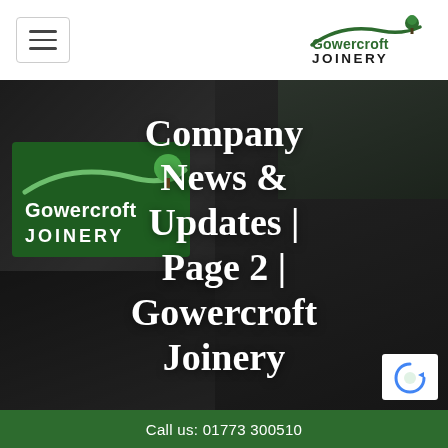[Figure (logo): Gowercroft Joinery logo with green tree icon and swoosh, company name in dark green]
[Figure (photo): Hero banner showing collage of Gowercroft Joinery signage, a smiling man in checkered shirt, a large house, and a building exterior, all with dark overlay]
Company News & Updates | Page 2 | Gowercroft Joinery
Call us: 01773 300510